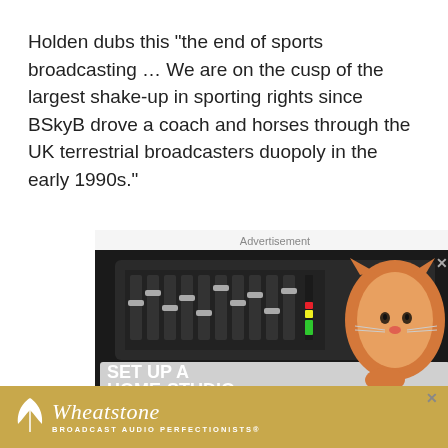Holden dubs this "the end of sports broadcasting … We are on the cusp of the largest shake-up in sporting rights since BSkyB drove a coach and horses through the UK terrestrial broadcasters duopoly in the early 1990s."
[Figure (other): Advertisement banner for a home studio setup product showing a laptop with audio mixing software, a microphone, and a cat. Text reads 'SET UP A HOME-STUDIO IN MINUTES' and 'REMOTE SOLUTIONS' in red. Labeled 'Advertisement' at top.]
[Figure (other): Wheatstone advertisement banner with golden/tan background showing the Wheatstone logo with a leaf icon and the tagline 'BROADCAST AUDIO PERFECTIONISTS®']